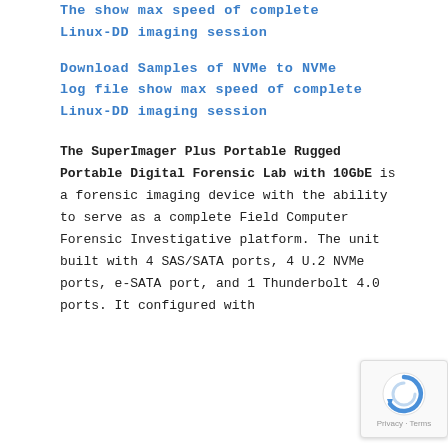The show max speed of complete Linux-DD imaging session
Download Samples of NVMe to NVMe log file show max speed of complete Linux-DD imaging session
The SuperImager Plus Portable Rugged Portable Digital Forensic Lab with 10GbE is a forensic imaging device with the ability to serve as a complete Field Computer Forensic Investigative platform. The unit built with 4 SAS/SATA ports, 4 U.2 NVMe ports, e-SATA port, and 1 Thunderbolt 4.0 ports. It configured with